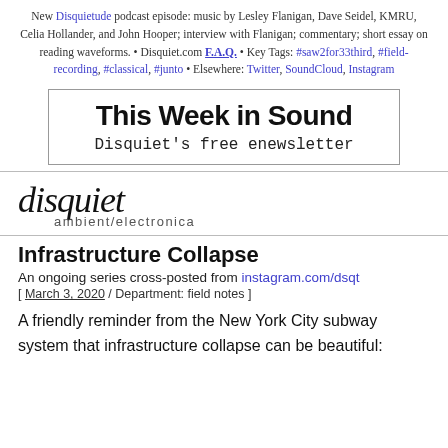New Disquietude podcast episode: music by Lesley Flanigan, Dave Seidel, KMRU, Celia Hollander, and John Hooper; interview with Flanigan; commentary; short essay on reading waveforms. • Disquiet.com F.A.Q. • Key Tags: #saw2for33third, #field-recording, #classical, #junto • Elsewhere: Twitter, SoundCloud, Instagram
[Figure (other): Newsletter signup banner reading 'This Week in Sound / Disquiet's free enewsletter' with border]
[Figure (logo): Disquiet logo in cursive script with 'ambient/electronica' subtitle]
Infrastructure Collapse
An ongoing series cross-posted from instagram.com/dsqt
[ March 3, 2020 / Department: field notes ]
A friendly reminder from the New York City subway system that infrastructure collapse can be beautiful: